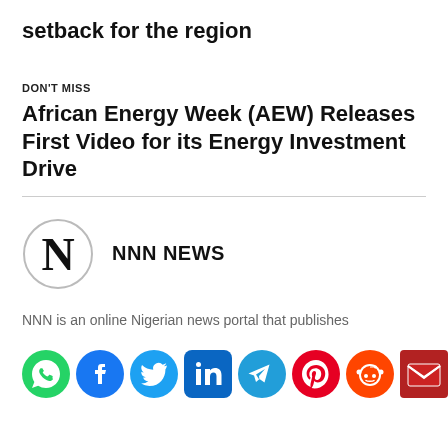setback for the region
DON'T MISS
African Energy Week (AEW) Releases First Video for its Energy Investment Drive
[Figure (logo): NNN News logo: circular outline with large bold N inside]
NNN NEWS
NNN is an online Nigerian news portal that publishes
[Figure (infographic): Row of social media share icons: WhatsApp (green), Facebook (blue), Twitter (light blue), LinkedIn (blue), Telegram (blue), Pinterest (red), Reddit (orange-red), Email (dark red)]